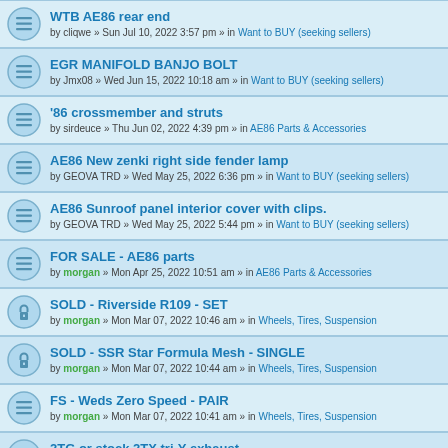WTB AE86 rear end
by cliqwe » Sun Jul 10, 2022 3:57 pm » in Want to BUY (seeking sellers)
EGR MANIFOLD BANJO BOLT
by Jmx08 » Wed Jun 15, 2022 10:18 am » in Want to BUY (seeking sellers)
'86 crossmember and struts
by sirdeuce » Thu Jun 02, 2022 4:39 pm » in AE86 Parts & Accessories
AE86 New zenki right side fender lamp
by GEOVA TRD » Wed May 25, 2022 6:36 pm » in Want to BUY (seeking sellers)
AE86 Sunroof panel interior cover with clips.
by GEOVA TRD » Wed May 25, 2022 5:44 pm » in Want to BUY (seeking sellers)
FOR SALE - AE86 parts
by morgan » Mon Apr 25, 2022 10:51 am » in AE86 Parts & Accessories
SOLD - Riverside R109 - SET
by morgan » Mon Mar 07, 2022 10:46 am » in Wheels, Tires, Suspension
SOLD - SSR Star Formula Mesh - SINGLE
by morgan » Mon Mar 07, 2022 10:44 am » in Wheels, Tires, Suspension
FS - Weds Zero Speed - PAIR
by morgan » Mon Mar 07, 2022 10:41 am » in Wheels, Tires, Suspension
2TG or stock 2TX tri-Y exhaust.
by sirdeuce » Fri Feb 18, 2022 5:35 pm » in Want to BUY (seeking sellers)
4A-GE Main Studs
by 4AGMG » Wed Feb 16, 2022 7:19 am » in 4A-GE Engine Parts